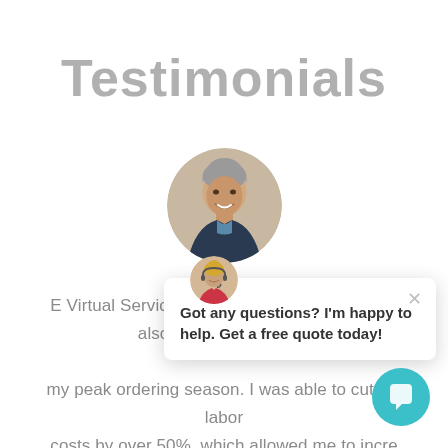Testimonials
[Figure (photo): Circular profile photo of a middle-aged man with grey hair, smiling, wearing a dark jacket]
E Virtual Services allo rapidly. I hired an assis also up to 5 people wh my peak ordering season. I was able to cut my labor costs by over 50%, which allowed me to incre profitability and sales faster than I ever would have
[Figure (screenshot): Chat popup widget overlay with small female avatar with headset, close button (×), and text 'Got any questions? I'm happy to help. Get a free quote today!' plus a teal chat bubble button in corner]